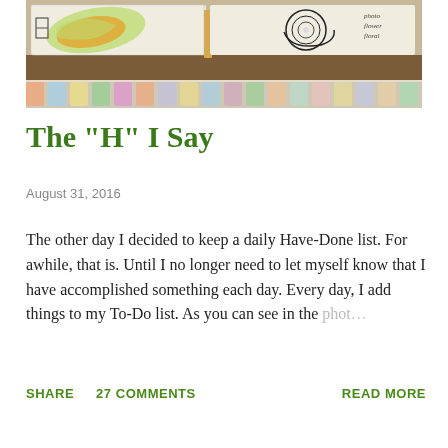[Figure (photo): Photo of an open sketchbook/art journal showing colorful hand-drawn illustrations. Top portion shows a larger photo of the book pages with doodles, and below is a cropped strip showing more of the book.]
The "H" I Say
August 31, 2016
The other day I decided to keep a daily Have-Done list. For awhile, that is. Until I no longer need to let myself know that I have accomplished something each day. Every day, I add things to my To-Do list. As you can see in the phot…
SHARE   27 COMMENTS   READ MORE